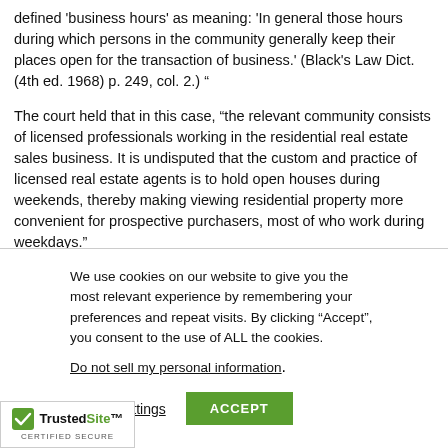defined 'business hours' as meaning: 'In general those hours during which persons in the community generally keep their places open for the transaction of business.' (Black's Law Dict. (4th ed. 1968) p. 249, col. 2.) “
The court held that in this case, “the relevant community consists of licensed professionals working in the residential real estate sales business. It is undisputed that the custom and practice of licensed real estate agents is to hold open houses during weekends, thereby making viewing residential property more convenient for prospective purchasers, most of who work during weekdays.”
We use cookies on our website to give you the most relevant experience by remembering your preferences and repeat visits. By clicking “Accept”, you consent to the use of ALL the cookies.
Do not sell my personal information.
Cookie settings  ACCEPT
[Figure (logo): TrustedSite certified secure badge with green checkmark]